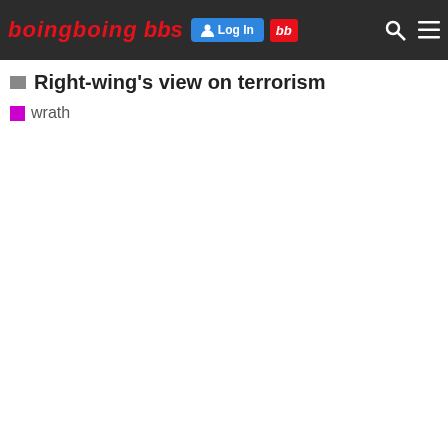boing boing bbs — Log In bb
Right-wing's view on terrorism
wrath